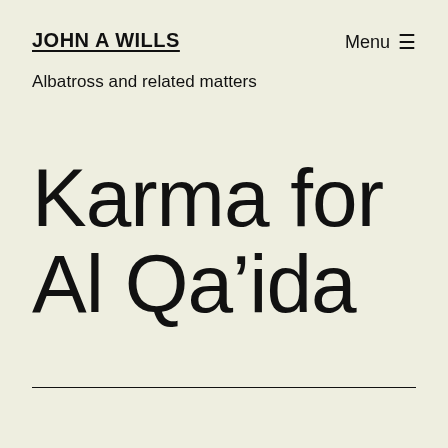JOHN A WILLS
Menu ≡
Albatross and related matters
Karma for Al Qa'ida